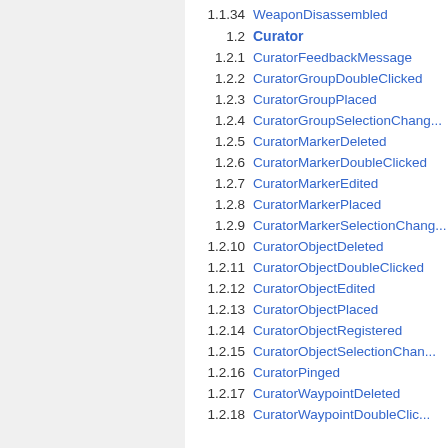1.1.34 WeaponDisassembled
1.2 Curator
1.2.1 CuratorFeedbackMessage
1.2.2 CuratorGroupDoubleClicked
1.2.3 CuratorGroupPlaced
1.2.4 CuratorGroupSelectionChanged
1.2.5 CuratorMarkerDeleted
1.2.6 CuratorMarkerDoubleClicked
1.2.7 CuratorMarkerEdited
1.2.8 CuratorMarkerPlaced
1.2.9 CuratorMarkerSelectionChanged
1.2.10 CuratorObjectDeleted
1.2.11 CuratorObjectDoubleClicked
1.2.12 CuratorObjectEdited
1.2.13 CuratorObjectPlaced
1.2.14 CuratorObjectRegistered
1.2.15 CuratorObjectSelectionChanged
1.2.16 CuratorPinged
1.2.17 CuratorWaypointDeleted
1.2.18 CuratorWaypointDoubleClicked